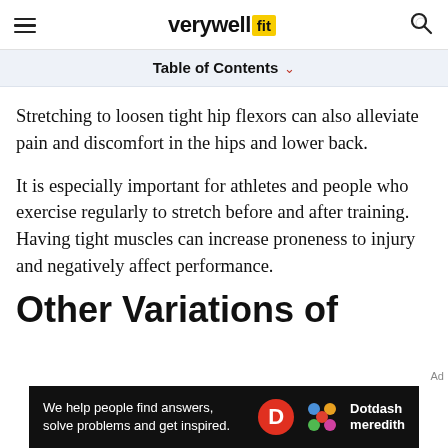verywell fit
Table of Contents
Stretching to loosen tight hip flexors can also alleviate pain and discomfort in the hips and lower back.
It is especially important for athletes and people who exercise regularly to stretch before and after training. Having tight muscles can increase proneness to injury and negatively affect performance.
Other Variations of
[Figure (infographic): Dark advertisement banner: 'We help people find answers, solve problems and get inspired.' with Dotdash Meredith logo]